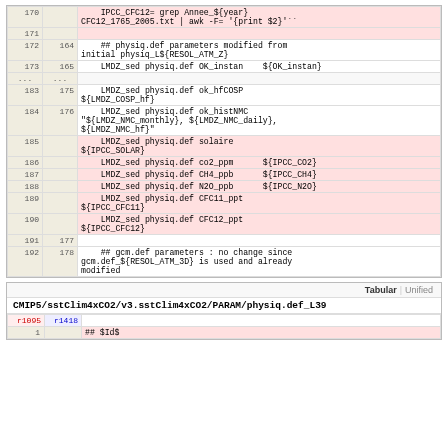| line-old | line-new | code |
| --- | --- | --- |
| 170 |  |     IPCC_CFC12= grep Annee_${year}
CFC12_1765_2005.txt | awk -F= '{print $2}' |
| 171 |  |  |
| 172 | 164 |     ## physiq.def parameters modified from
initial physiq_L${RESOL_ATM_Z} |
| 173 | 165 |     LMDZ_sed physiq.def OK_instan    ${OK_instan} |
| ... | ... |  |
| 183 | 175 |     LMDZ_sed physiq.def ok_hfCOSP
${LMDZ_COSP_hf} |
| 184 | 176 |     LMDZ_sed physiq.def ok_histNMC
"${LMDZ_NMC_monthly}, ${LMDZ_NMC_daily},
${LMDZ_NMC_hf}" |
| 185 |  |     LMDZ_sed physiq.def solaire
${IPCC_SOLAR} |
| 186 |  |     LMDZ_sed physiq.def co2_ppm      ${IPCC_CO2} |
| 187 |  |     LMDZ_sed physiq.def CH4_ppb      ${IPCC_CH4} |
| 188 |  |     LMDZ_sed physiq.def N2O_ppb      ${IPCC_N2O} |
| 189 |  |     LMDZ_sed physiq.def CFC11_ppt
${IPCC_CFC11} |
| 190 |  |     LMDZ_sed physiq.def CFC12_ppt
${IPCC_CFC12} |
| 191 | 177 |  |
| 192 | 178 |     ## gcm.def parameters : no change since
gcm.def_${RESOL_ATM_3D} is used and already
modified |
| r1095 | r1418 | code |
| --- | --- | --- |
| 1 |  | ## $Id$ |